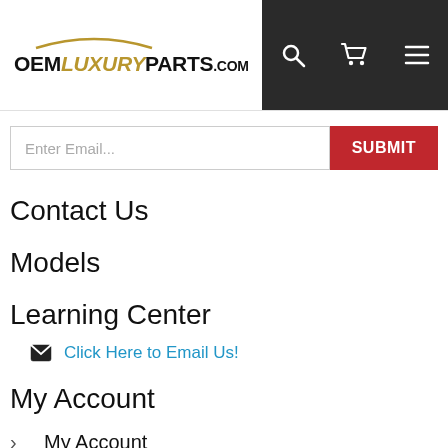OEMLUXURYPARTS.COM
Enter Email... SUBMIT
Contact Us
Models
Learning Center
Click Here to Email Us!
My Account
My Account
My Orders